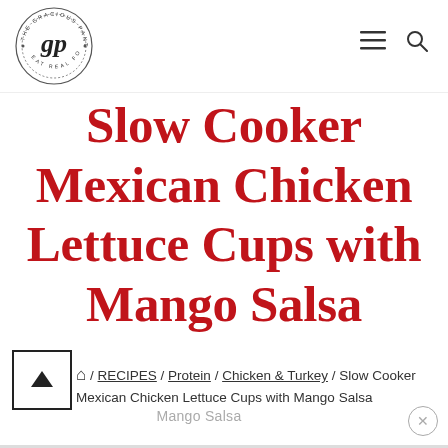[Figure (logo): The Gracious Pantry circular logo with cursive 'gp' initials and text 'EAT REAL FOOD' around the border]
Slow Cooker Mexican Chicken Lettuce Cups with Mango Salsa
/ RECIPES / Protein / Chicken & Turkey / Slow Cooker Mexican Chicken Lettuce Cups with Mango Salsa